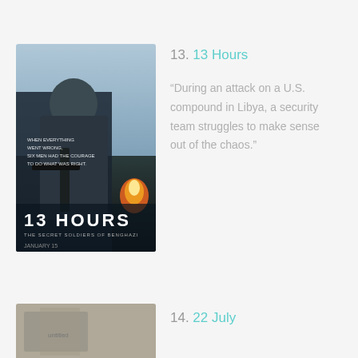13. 13 Hours
[Figure (photo): Movie poster for 13 Hours: The Secret Soldiers of Benghazi, showing a soldier holding a weapon with fire in the background. Text on poster reads: WHEN EVERYTHING WENT WRONG, SIX MEN HAD THE COURAGE TO DO WHAT WAS RIGHT. 13 HOURS THE SECRET SOLDIERS OF BENGHAZI. JANUARY 15.]
“During an attack on a U.S. compound in Libya, a security team struggles to make sense out of the chaos.”
14. 22 July
[Figure (photo): Partial view of another movie poster at the bottom of the page, partially cut off.]